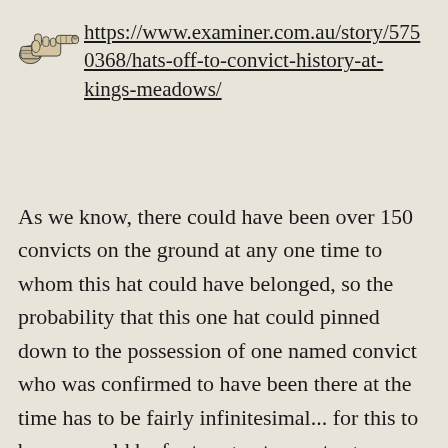https://www.examiner.com.au/story/5750368/hats-off-to-convict-history-at-kings-meadows/
As we know, there could have been over 150 convicts on the ground at any one time to whom this hat could have belonged, so the probability that this one hat could pinned down to the possession of one named convict who was confirmed to have been there at the time has to be fairly infinitesimal... for this to be so, would be far too great an outrageous coincidence, and as we know, outrageous